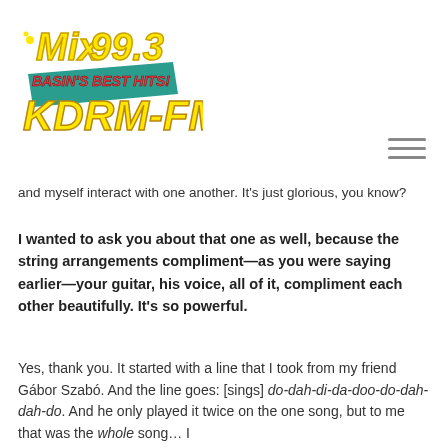[Figure (logo): Mix 99.3 Basin's Best Hits! KDRM-FM radio station logo with yellow stylized text and red/teal background elements]
and myself interact with one another. It's just glorious, you know?
I wanted to ask you about that one as well, because the string arrangements compliment—as you were saying earlier—your guitar, his voice, all of it, compliment each other beautifully. It's so powerful.
Yes, thank you. It started with a line that I took from my friend Gábor Szabó. And the line goes: [sings] do-dah-di-da-doo-do-dah-dah-do. And he only played it twice on the one song, but to me that was the whole song… I